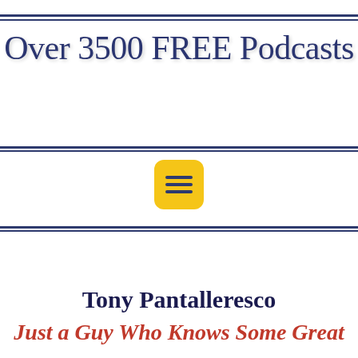Over 3500 FREE Podcasts
[Figure (infographic): Yellow rounded-square hamburger menu icon with three dark navy horizontal lines]
Tony Pantalleresco
Just a Guy Who Knows Some Great